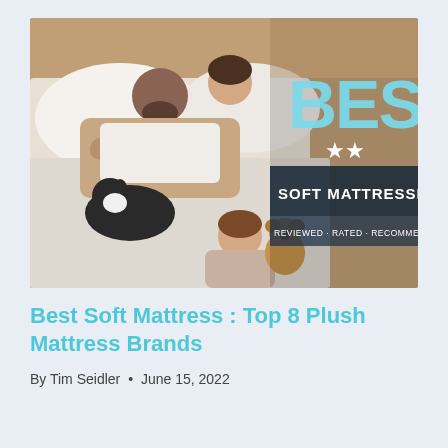[Figure (photo): A family sleeping in bed — a man, woman, and young girl hugging a teddy bear, with a black and white cat. Overlaid text on the right side reads 'BEST' in large light blue letters, '★★' stars, 'SOFT MATTRESSES' in white on dark background, and 'REVIEWED · RATED · RECOMMENDED' below.]
Best Soft Mattress : Top 8 Plush Mattress Brands
By Tim Seidler • June 15, 2022